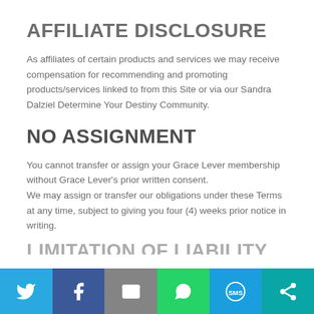AFFILIATE DISCLOSURE
As affiliates of certain products and services we may receive compensation for recommending and promoting products/services linked to from this Site or via our Sandra Dalziel Determine Your Destiny Community.
NO ASSIGNMENT
You cannot transfer or assign your Grace Lever membership without Grace Lever's prior written consent.
We may assign or transfer our obligations under these Terms at any time, subject to giving you four (4) weeks prior notice in writing.
[Figure (infographic): Social share bar with six buttons: Twitter (blue), Facebook (dark blue), Email (grey), WhatsApp (green), SMS (light blue), Share/other (teal), each with a white icon]